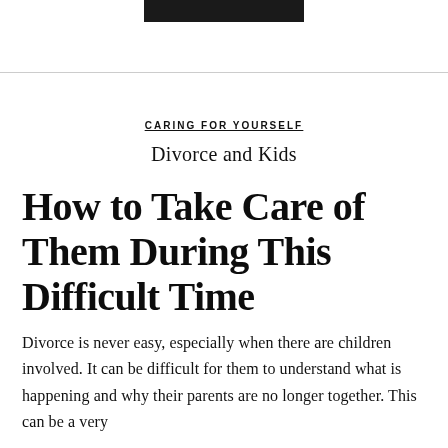CARING FOR YOURSELF
Divorce and Kids
How to Take Care of Them During This Difficult Time
Divorce is never easy, especially when there are children involved. It can be difficult for them to understand what is happening and why their parents are no longer together. This can be a very